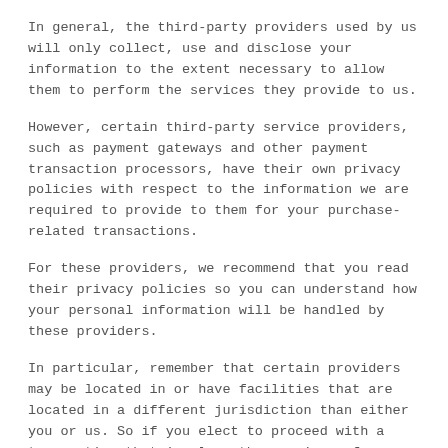In general, the third-party providers used by us will only collect, use and disclose your information to the extent necessary to allow them to perform the services they provide to us.
However, certain third-party service providers, such as payment gateways and other payment transaction processors, have their own privacy policies with respect to the information we are required to provide to them for your purchase-related transactions.
For these providers, we recommend that you read their privacy policies so you can understand how your personal information will be handled by these providers.
In particular, remember that certain providers may be located in or have facilities that are located in a different jurisdiction than either you or us. So if you elect to proceed with a transaction that involves the services of a third-party service provider, then your information may become subject to the laws of the jurisdiction(s) in which that service provider or its facilities are located.
As an example, if you are located in Canada and your